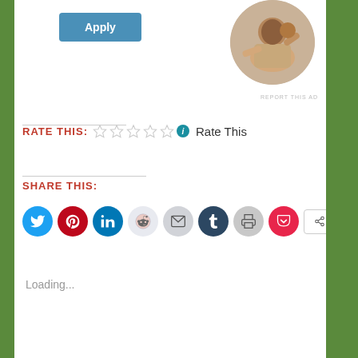[Figure (screenshot): Apply button (blue rounded rectangle) in top left area]
[Figure (photo): Circular profile photo of a man thinking, seated at a desk]
REPORT THIS AD
RATE THIS: ☆☆☆☆☆ ℹ Rate This
SHARE THIS:
[Figure (infographic): Social sharing icons row: Twitter, Pinterest, LinkedIn, Reddit, Email, Tumblr, Print, Pocket, More]
Loading...